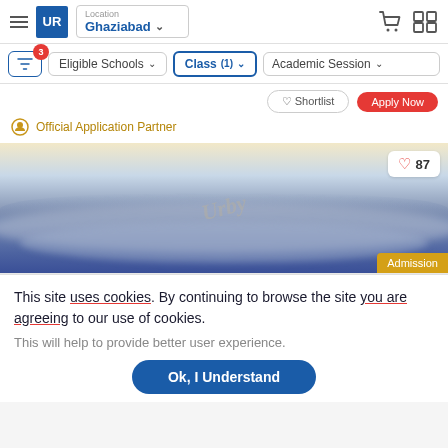[Figure (screenshot): Website navigation bar with UR logo, Location set to Ghaziabad, cart and grid icons]
[Figure (screenshot): Filter bar with filter icon (badge 3), Eligible Schools dropdown, Class (1) dropdown (active/highlighted), Academic Session dropdown]
[Figure (screenshot): School card partial view with shortlist and apply buttons, Official Application Partner badge, school image with clouds and heart counter showing 87, Admission badge]
This site uses cookies. By continuing to browse the site you are agreeing to our use of cookies.
This will help to provide better user experience.
Ok, I Understand